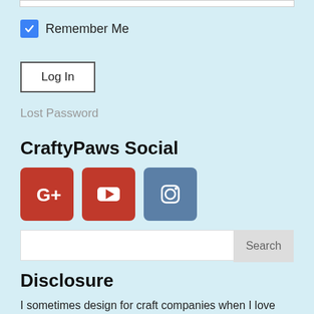Remember Me
Log In
Lost Password
CraftyPaws Social
[Figure (other): Three social media icons: Google+, YouTube, and Instagram]
Search
Disclosure
I sometimes design for craft companies when I love their products. I do not get paid for product reviews, and I never recommend a product that I do not use